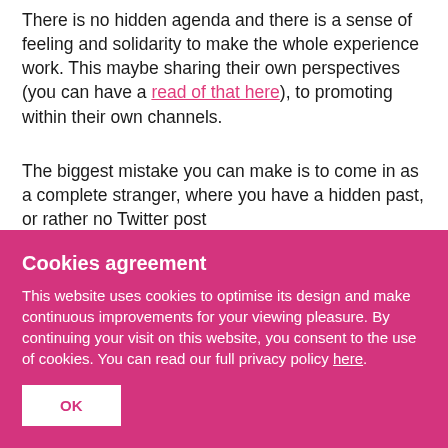There is no hidden agenda and there is a sense of feeling and solidarity to make the whole experience work. This maybe sharing their own perspectives (you can have a read of that here), to promoting within their own channels.
The biggest mistake you can make is to come in as a complete stranger, where you have a hidden past, or rather no Twitter post...
Cookies agreement
This website uses cookies to optimise its design and make continuous improvements for your viewing pleasure. By continuing your visit on this website, you consent to the use of cookies. You can read our full privacy policy here.